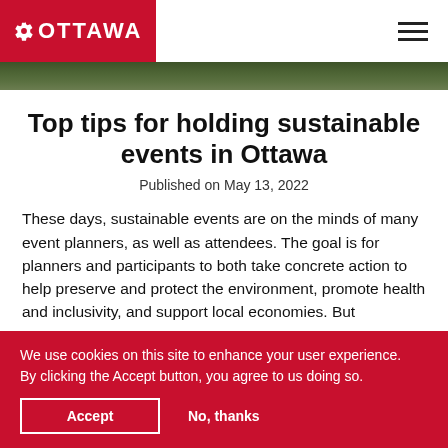OTTAWA
[Figure (photo): Green foliage / outdoor scene hero image strip]
Top tips for holding sustainable events in Ottawa
Published on May 13, 2022
These days, sustainable events are on the minds of many event planners, as well as attendees. The goal is for planners and participants to both take concrete action to help preserve and protect the environment, promote health and inclusivity, and support local economies. But
We use cookies on this site to enhance your user experience. By clicking the Accept button, you agree to us doing so.